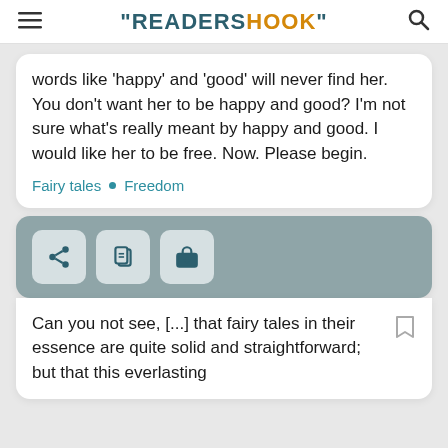"READERSHOOK"
words like 'happy' and 'good' will never find her.
You don't want her to be happy and good? I'm not sure what's really meant by happy and good. I would like her to be free. Now. Please begin.
Fairy tales • Freedom
[Figure (other): Three action buttons: share, copy/document, and gift icons on a grey card background]
Can you not see, [...] that fairy tales in their essence are quite solid and straightforward; but that this everlasting